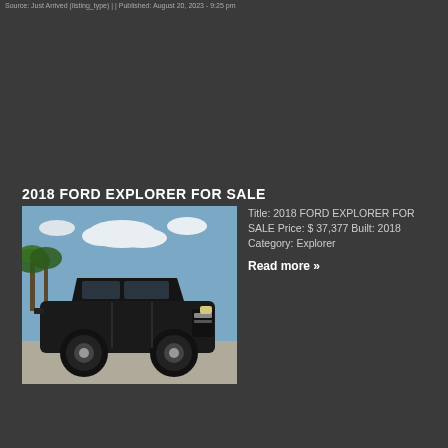Source: Just Arrived (listing_type) | | Published: August 20, 2023 - 9:25 pm
2018 FORD EXPLORER FOR SALE
[Figure (photo): Black 2018 Ford Explorer SUV parked in a lot with palm trees visible in the background]
Title: 2018 FORD EXPLORER FOR SALE Price: $ 37,377 Built: 2018 Category: Explorer Read more »